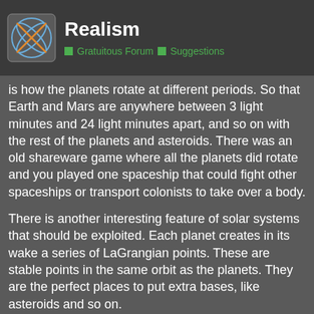Realism — Gratuitous Forum / Suggestions
is how the planets rotate at different periods. So that Earth and Mars are anywhere between 3 light minutes and 24 light minutes apart, and so on with the rest of the planets and asteroids. There was an old shareware game where all the planets did rotate and you played one spaceship that could fight other spaceships or transport colonists to take over a body.
There is another interesting feature of solar systems that should be exploited. Each planet creates in its wake a series of LaGrangian points. These are stable points in the same orbit as the planets. They are the perfect places to put extra bases, like asteroids and so on.
en.wikipedia.org/wiki/Lagrangian_point
[Figure (illustration): Diagram showing LaGrangian points in a solar system orbit. Shows a dotted elliptical orbit path with L4 labeled and a red dot marking the L4 point, with dashed lines forming a triangle. Page number overlay showing 8 / 19.]